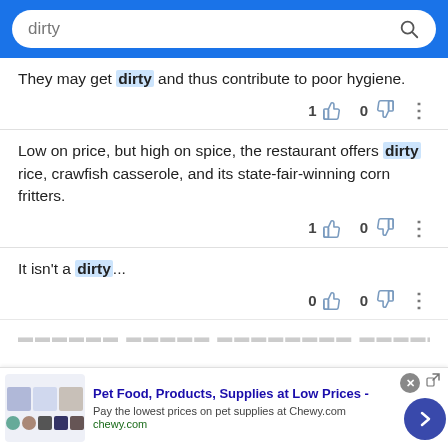dirty [search bar]
They may get dirty and thus contribute to poor hygiene.
Low on price, but high on spice, the restaurant offers dirty rice, crawfish casserole, and its state-fair-winning corn fritters.
It isn't a dirty...
Pet Food, Products, Supplies at Low Prices - Pay the lowest prices on pet supplies at Chewy.com chewy.com